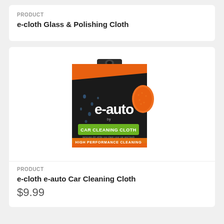PRODUCT
e-cloth Glass & Polishing Cloth
[Figure (photo): Product packaging for e-cloth e-auto Car Cleaning Cloth. Black bag with orange microfiber cloth visible, green label reading 'CAR CLEANING CLOTH', orange footer reading 'HIGH PERFORMANCE CLEANING', and e-auto by e-cloth branding.]
PRODUCT
e-cloth e-auto Car Cleaning Cloth
$9.99